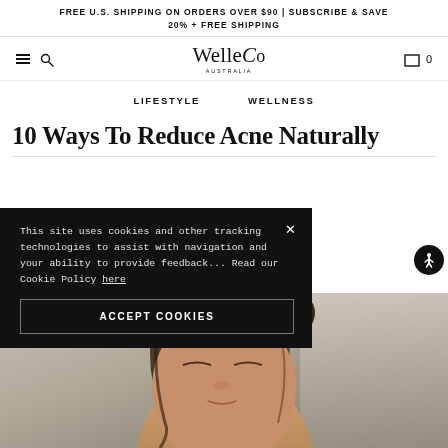FREE U.S. SHIPPING ON ORDERS OVER $90 | SUBSCRIBE & SAVE 20% + FREE SHIPPING
[Figure (logo): WelleCo Australia logo with hamburger menu, search icon, cart and 0 items]
LIFESTYLE    WELLNESS
10 Ways To Reduce Acne Naturally
This site uses cookies and other tracking technologies to assist with navigation and your ability to provide feedback... Read our Cookie Policy here
ACCEPT COOKIES
[Figure (photo): Close-up photo of a woman with eyes closed, natural skin, brown hair, soft light background]